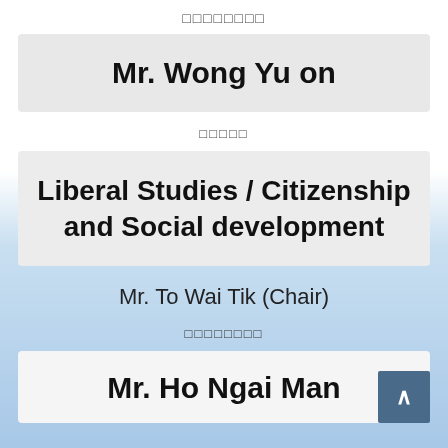□□□□□□□□
Mr. Wong Yu on
□□□□□
Liberal Studies / Citizenship and Social development
Mr. To Wai Tik (Chair)
□□□□□□□□
Mr. Ho Ngai Man